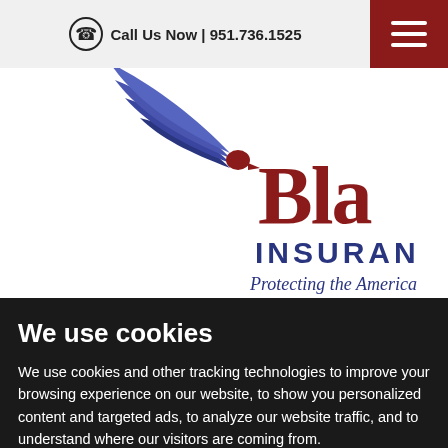Call Us Now | 951.736.1525
[Figure (logo): Blake Insurance logo with eagle wings and text 'Bla... INSURAN... Protecting the America...' partially visible, cropped on right]
We use cookies
We use cookies and other tracking technologies to improve your browsing experience on our website, to show you personalized content and targeted ads, to analyze our website traffic, and to understand where our visitors are coming from.